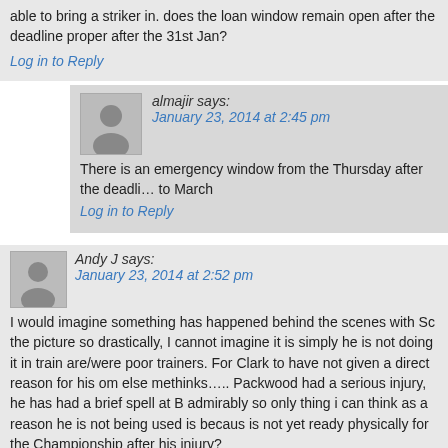able to bring a striker in. does the loan window remain open after the deadline proper after the 31st Jan?
Log in to Reply
almajir says:
January 23, 2014 at 2:45 pm
There is an emergency window from the Thursday after the deadline to March
Log in to Reply
Andy J says:
January 23, 2014 at 2:52 pm
I would imagine something has happened behind the scenes with So the picture so drastically, I cannot imagine it is simply he is not doing it in train are/were poor trainers. For Clark to have not given a direct reason for his om else methinks….. Packwood had a serious injury, he has had a brief spell at B admirably so only thing i can think as a reason he is not being used is becaus is not yet ready physically for the Championship after his injury?
The Scott Allan situation is so frustrating though…
Log in to Reply